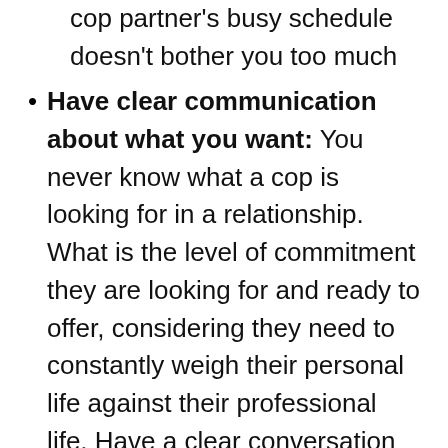cop partner's busy schedule doesn't bother you too much
Have clear communication about what you want: You never know what a cop is looking for in a relationship. What is the level of commitment they are looking for and ready to offer, considering they need to constantly weigh their personal life against their professional life. Have a clear conversation about where each of your stand
Value your health: A police officer job naturally comes with the prioritization of physical fitness. While this is a huge plus side to the job, as a partner you don't want to feel left behind. So prioritize health fitness too